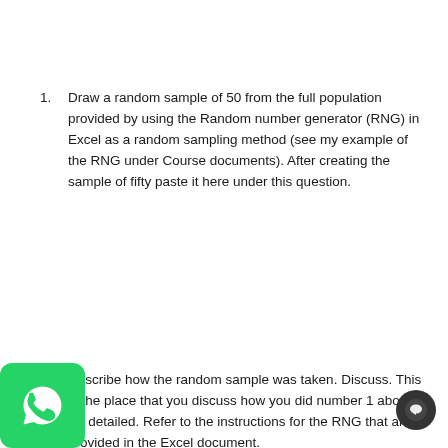1. Draw a random sample of 50 from the full population provided by using the Random number generator (RNG) in Excel as a random sampling method (see my example of the RNG under Course documents). After creating the sample of fifty paste it here under this question.
1. Describe how the random sample was taken. Discuss. This is the place that you discuss how you did number 1 above. Be detailed. Refer to the instructions for the RNG that are provided in the Excel document.